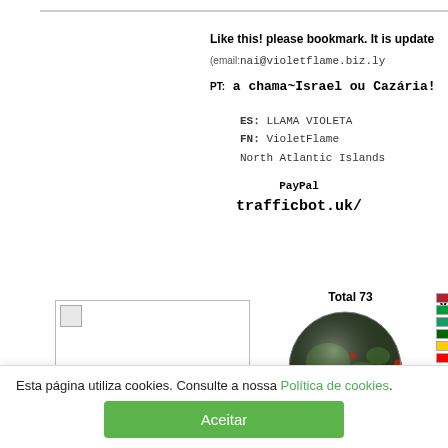Like this! please bookmark. It is update
(email:nai@violetflame.biz.ly)
PT: a chama~Israel ou Cazária!
ES: LLAMA VIOLETA
FN: VioletFlame
North Atlantic Islands
PayPal
trafficbot.uk/
[Figure (photo): Small image placeholder in a bordered box]
[Figure (other): Globe showing Total 73 visitors map]
Esta página utiliza cookies. Consulte a nossa Política de cookies.
Aceitar